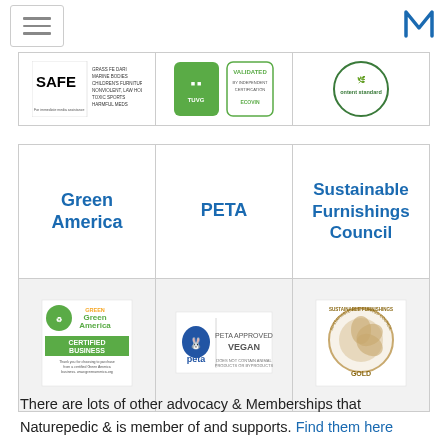Navigation and site logo
[Figure (table-as-image): Partial top row showing SAFE, Validated green badge, and content standard logos]
| Green America | PETA | Sustainable Furnishings Council |
| --- | --- | --- |
| Green America logo - Certified Business | PETA Approved Vegan logo | Sustainable Furnishings Council Gold logo |
There are lots of other advocacy & Memberships that Naturepedic & is member of and supports. Find them here